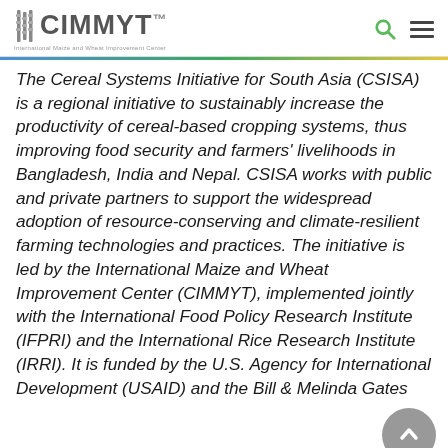CIMMYT — International Maize and Wheat Improvement Center
The Cereal Systems Initiative for South Asia (CSISA) is a regional initiative to sustainably increase the productivity of cereal-based cropping systems, thus improving food security and farmers' livelihoods in Bangladesh, India and Nepal. CSISA works with public and private partners to support the widespread adoption of resource-conserving and climate-resilient farming technologies and practices. The initiative is led by the International Maize and Wheat Improvement Center (CIMMYT), implemented jointly with the International Food Policy Research Institute (IFPRI) and the International Rice Research Institute (IRRI). It is funded by the U.S. Agency for International Development (USAID) and the Bill & Melinda Gates